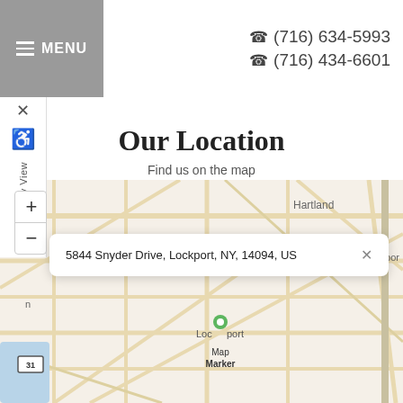≡ MENU   ☎ (716) 634-5993   ☎ (716) 434-6601
× Accessibility View
Our Location
Find us on the map
[Figure (map): Street map centered on Lockport, NY area with zoom controls (+/-) and a popup tooltip showing address: 5844 Snyder Drive, Lockport, NY, 14094, US. A map marker is visible near Lockport label. Place names visible include Hartland and partial 'eport'.]